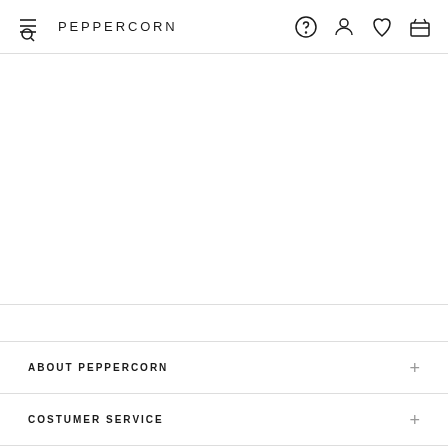PEPPERCORN
ABOUT PEPPERCORN
COSTUMER SERVICE
WHOLESALE